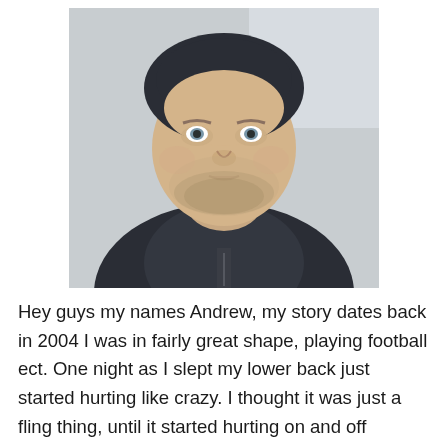[Figure (photo): Close-up selfie photo of a heavyset young man with light stubble beard, blue eyes, wearing a dark hooded jacket, with a light background.]
Hey guys my names Andrew, my story dates back in 2004 I was in fairly great shape, playing football ect. One night as I slept my lower back just started hurting like crazy. I thought it was just a fling thing, until it started hurting on and off everyday. I went  to my parents about the situation, my initial reaction was to quit playing football as I thought that was my problem. The main symptom for about at time